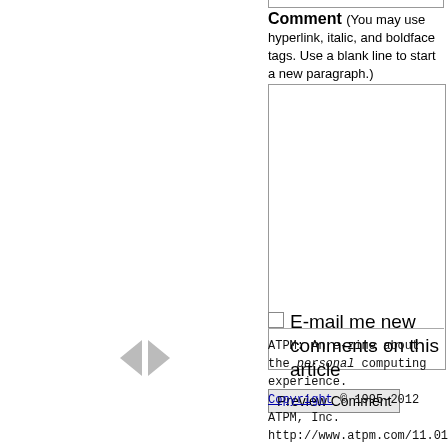Comment (You may use hyperlink, italic, and boldface tags. Use a blank line to start a new paragraph.)
E-mail me new comments on this article
Preview Comment
[Figure (other): Navigation arrows: left-pointing and right-pointing triangles]
ATPM: An e-zine about the personal computing experience. Copyright © 1995–2012 ATPM, Inc. http://www.atpm.com/11.01/delicious-library.shtml